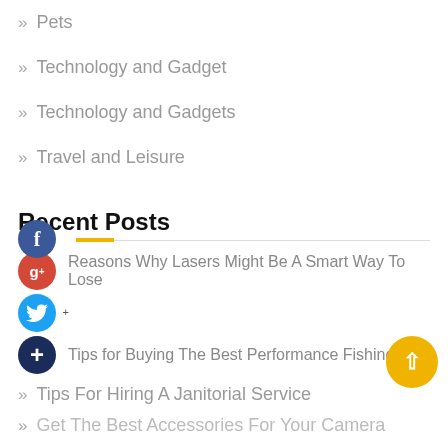Pets
Technology and Gadget
Technology and Gadgets
Travel and Leisure
Recent Posts
Reasons Why Lasers Might Be A Smart Way To Lose
Tips for Buying The Best Performance Fishing Shi
Tips For Hiring A Janitorial Service
Get The Best Accessories For Your Camera